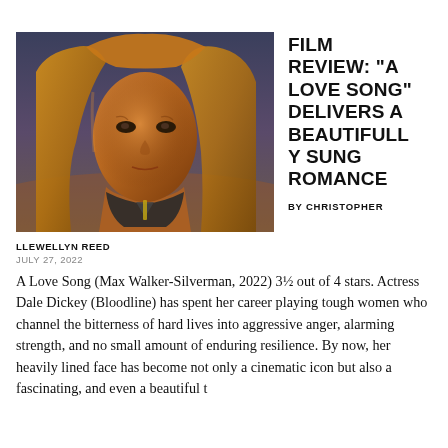[Figure (photo): Close-up portrait of actress Dale Dickey with long blonde hair, looking into the distance against a dusky sky background]
FILM REVIEW: “A LOVE SONG” DELIVERS A BEAUTIFULLY SUNG ROMANCE
BY CHRISTOPHER
LLEWELLYN REED
JULY 27, 2022
A Love Song (Max Walker-Silverman, 2022) 3½ out of 4 stars. Actress Dale Dickey (Bloodline) has spent her career playing tough women who channel the bitterness of hard lives into aggressive anger, alarming strength, and no small amount of enduring resilience. By now, her heavily lined face has become not only a cinematic icon but also a fascinating, and even a beautiful t